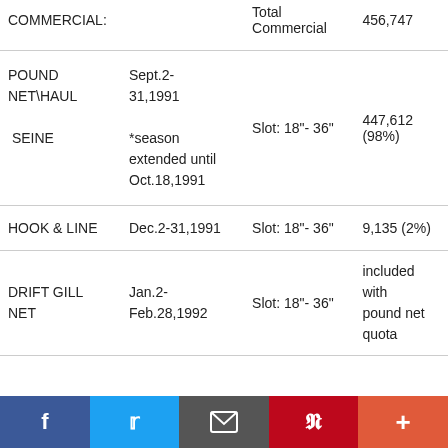|  |  | Total Commercial | 456,747 |
| --- | --- | --- | --- |
| POUND NET\HAUL

SEINE | Sept.2-31,1991

*season extended until Oct.18,1991 | Slot: 18"- 36" | 447,612 (98%) |
| HOOK & LINE | Dec.2-31,1991 | Slot: 18"- 36" | 9,135 (2%) |
| DRIFT GILL NET | Jan.2-Feb.28,1992 | Slot: 18"- 36" | included with pound net quota |